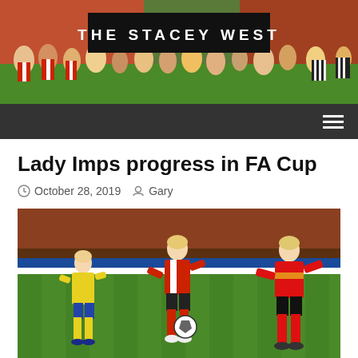[Figure (photo): THE STACEY WEST blog header banner with crowd of football fans celebrating, red and white striped shirts visible]
THE STACEY WEST
Lady Imps progress in FA Cup
October 28, 2019   Gary
[Figure (photo): Women's football match photo showing players on pitch - a player in red and white stripes (Lincoln City Lady Imps) competing against players in yellow and a goalkeeper in red]